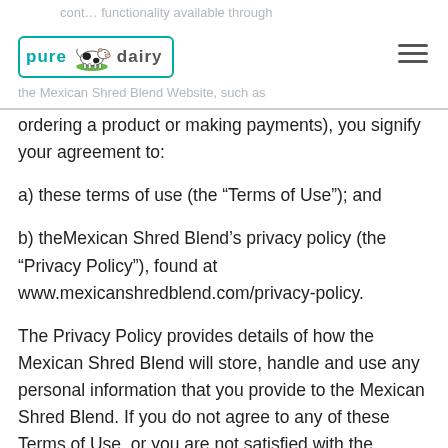cont… functionality available through the Mexican Shred Blend Website, such as
[Figure (logo): Pure Dairy logo with cow illustration inside a teal-bordered rectangle]
ordering a product or making payments), you signify your agreement to:
a) these terms of use (the "Terms of Use"); and
b) theMexican Shred Blend's privacy policy (the "Privacy Policy"), found at www.mexicanshredblend.com/privacy-policy.
The Privacy Policy provides details of how the Mexican Shred Blend will store, handle and use any personal information that you provide to the Mexican Shred Blend. If you do not agree to any of these Terms of Use, or you are not satisfied with the Privacy Policy,